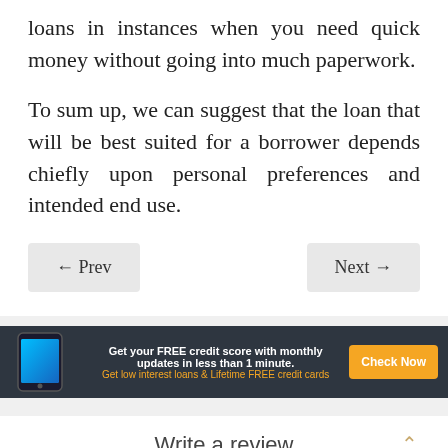loans in instances when you need quick money without going into much paperwork.
To sum up, we can suggest that the loan that will be best suited for a borrower depends chiefly upon personal preferences and intended end use.
← Prev    Next →
[Figure (screenshot): Advertisement banner: dark background with phone image, text 'Get your FREE credit score with monthly updates in less than 1 minute.' and 'Get low interest loans & Lifetime FREE credit cards', orange 'Check Now' button.]
Write a review
Name *
Name (placeholder input field)